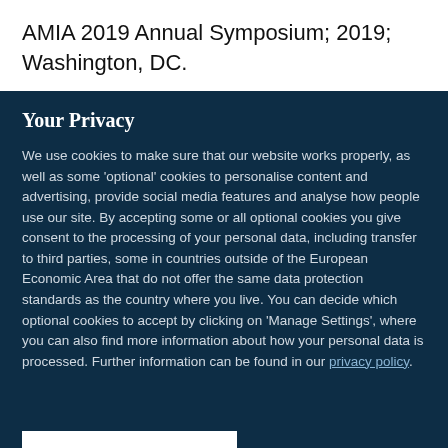AMIA 2019 Annual Symposium; 2019; Washington, DC.
Your Privacy
We use cookies to make sure that our website works properly, as well as some 'optional' cookies to personalise content and advertising, provide social media features and analyse how people use our site. By accepting some or all optional cookies you give consent to the processing of your personal data, including transfer to third parties, some in countries outside of the European Economic Area that do not offer the same data protection standards as the country where you live. You can decide which optional cookies to accept by clicking on 'Manage Settings', where you can also find more information about how your personal data is processed. Further information can be found in our privacy policy.
Accept all cookies
Manage preferences